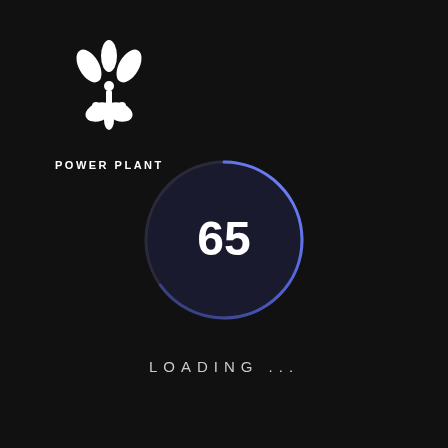[Figure (logo): Power Plant logo: wind turbine icon with leaf/plant symbol below the rotor, white on dark background, with text POWER PLANT below]
[Figure (other): Circular progress/gauge indicator showing the number 65 in the center, with a dark background circle and a blue-purple arc outline indicating approximately 65% progress]
LOADING ...